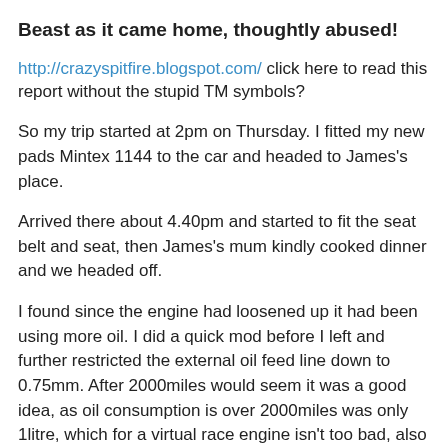Beast as it came home, thoughtly abused!
http://crazyspitfire.blogspot.com/ click here to read this report without the stupid TM symbols?
So my trip started at 2pm on Thursday. I fitted my new pads Mintex 1144 to the car and headed to James's place.
Arrived there about 4.40pm and started to fit the seat belt and seat, then James's mum kindly cooked dinner and we headed off.
I found since the engine had loosened up it had been using more oil. I did a quick mod before I left and further restricted the external oil feed line down to 0.75mm. After 2000miles would seem it was a good idea, as oil consumption is over 2000miles was only 1litre, which for a virtual race engine isn't too bad, also that was all hard miles!.
Back to the trip! We possibly left a little late from James's place and we hit some traffic on the M25. We would have made it in hindsight as the ferry was 45mins late, but it was